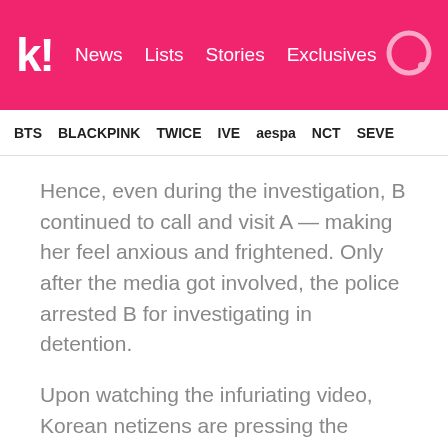k! News Lists Stories Exclusives
BTS  BLACKPINK  TWICE  IVE  aespa  NCT  SEVE
Hence, even during the investigation, B continued to call and visit A — making her feel anxious and frightened. Only after the media got involved, the police arrested B for investigating in detention.
Upon watching the infuriating video, Korean netizens are pressing the police and the South Korean government to show B no mercy — while many worry that the court will practice leniency in favor of the offender.